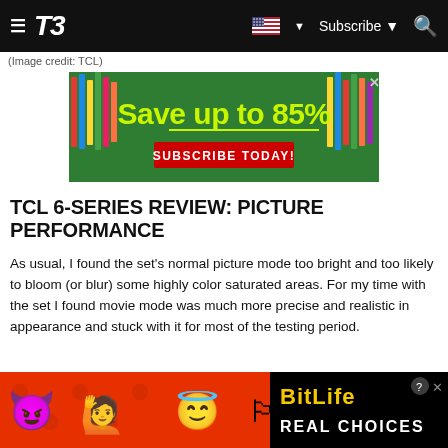T3 — Subscribe
(Image credit: TCL)
[Figure (advertisement): Advertisement banner: green chalkboard background with colorful pencils, text 'Save up to 85%' in yellow-green, 'SUBSCRIBE TODAY!' in red button below]
TCL 6-SERIES REVIEW: PICTURE PERFORMANCE
As usual, I found the set's normal picture mode too bright and too likely to bloom (or blur) some highly color saturated areas. For my time with the set I found movie mode was much more precise and realistic in appearance and stuck with it for most of the testing period.
The TCL 6-Series revealed itself to be a capable 4K TV. It did well producing colors, whether it was a muted, foggy scene or
[Figure (advertisement): BitLife app advertisement banner with emoji characters (devil, woman, angel) on red background and BitLife logo with 'REAL CHOICES' text on black background]